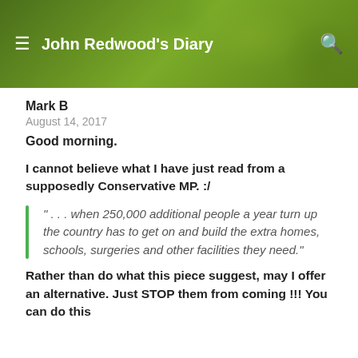John Redwood's Diary
Mark B
August 14, 2017
Good morning.
I cannot believe what I have just read from a supposedly Conservative MP. :/
" . . . when 250,000 additional people a year turn up the country has to get on and build the extra homes, schools, surgeries and other facilities they need."
Rather than do what this piece suggest, may I offer an alternative. Just STOP them from coming !!! You can do this